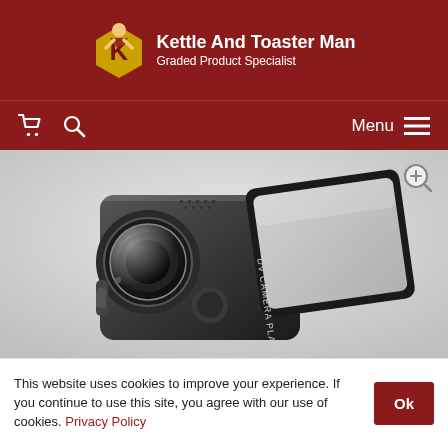Kettle And Toaster Man — Graded Product Specialist
[Figure (photo): A black DV Camera Player with flip-out LCD screen and camera lens visible, photographed against a light background.]
This website uses cookies to improve your experience. If you continue to use this site, you agree with our use of cookies. Privacy Policy